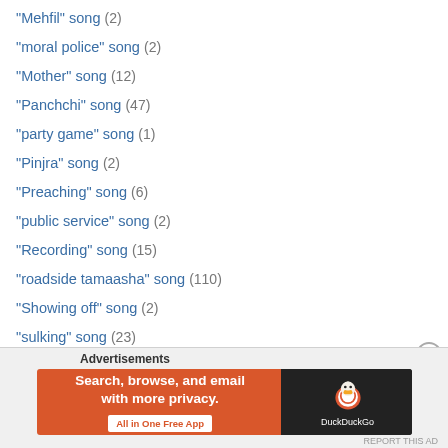"Mehfil" song (2)
"moral police" song (2)
"Mother" song (12)
"Panchchi" song (47)
"party game" song (1)
"Pinjra" song (2)
"Preaching" song (6)
"public service" song (2)
"Recording" song (15)
"roadside tamaasha" song (110)
"Showing off" song (2)
"sulking" song (23)
"teaching" song (2)
"unfulfilled" love (14)
"western" dance (8)
"women empowerment" song (12)
Advertisements
[Figure (infographic): DuckDuckGo advertisement banner: orange and dark background with text 'Search, browse, and email with more privacy. All in One Free App' and DuckDuckGo duck logo on dark side]